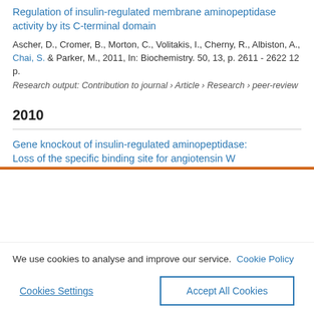Regulation of insulin-regulated membrane aminopeptidase activity by its C-terminal domain
Ascher, D., Cromer, B., Morton, C., Volitakis, I., Cherny, R., Albiston, A., Chai, S. & Parker, M., 2011, In: Biochemistry. 50, 13, p. 2611 - 2622 12 p.
Research output: Contribution to journal › Article › Research › peer-review
2010
Gene knockout of insulin-regulated aminopeptidase: Loss of the specific binding site for angiotensin W...
We use cookies to analyse and improve our service. Cookie Policy
Cookies Settings
Accept All Cookies